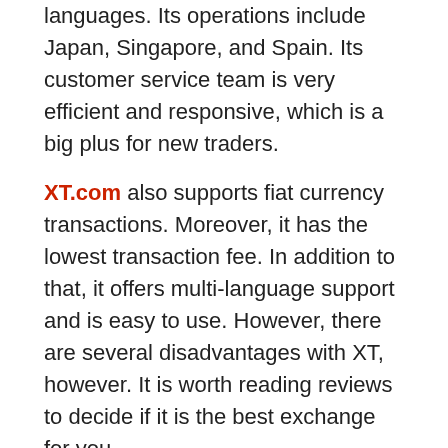languages. Its operations include Japan, Singapore, and Spain. Its customer service team is very efficient and responsive, which is a big plus for new traders.
XT.com also supports fiat currency transactions. Moreover, it has the lowest transaction fee. In addition to that, it offers multi-language support and is easy to use. However, there are several disadvantages with XT, however. It is worth reading reviews to decide if it is the best exchange for you.
XT is a global digital currency exchange that focuses on interest-free leverage. Its service is easy to use and has the lowest transaction fee. It is one of the best digital currency exchanges to trade with. The company is backed by a reputable capital fund and supports more than one million global users.
It has a customer support staff that is ready to assist you